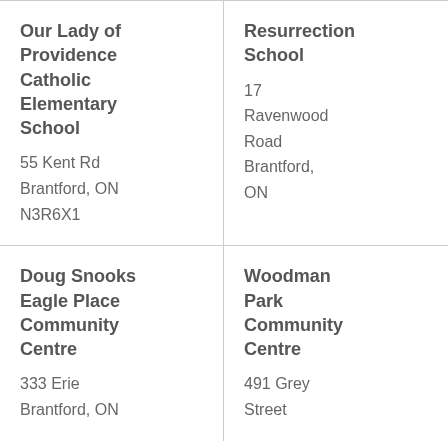Our Lady of Providence Catholic Elementary School
55 Kent Rd
Brantford, ON
N3R6X1
Resurrection School
17 Ravenwood Road
Brantford, ON
Doug Snooks Eagle Place Community Centre
333 Erie
Brantford, ON
Woodman Park Community Centre
491 Grey Street